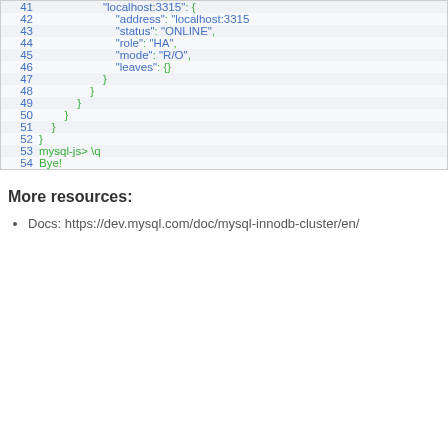[Figure (screenshot): Code block showing lines 41-54 of a MySQL shell JSON output and quit command. Lines show nested JSON with localhost:3315 entry containing address, status ONLINE, role HA, mode R/O, leaves {}. Closing braces on lines 47-52. Line 53 shows mysql-js> \q and line 54 shows Bye!]
More resources:
Docs: https://dev.mysql.com/doc/mysql-innodb-cluster/en/